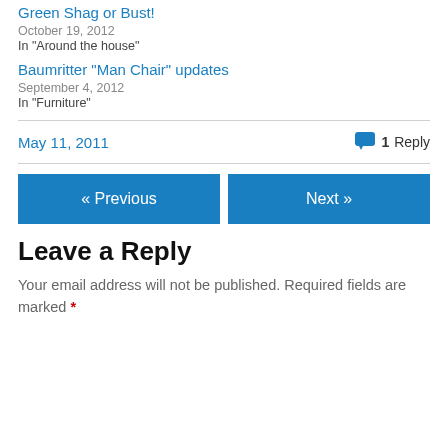Green Shag or Bust!
October 19, 2012
In "Around the house"
Baumritter "Man Chair" updates
September 4, 2012
In "Furniture"
May 11, 2011
1 Reply
« Previous
Next »
Leave a Reply
Your email address will not be published. Required fields are marked *